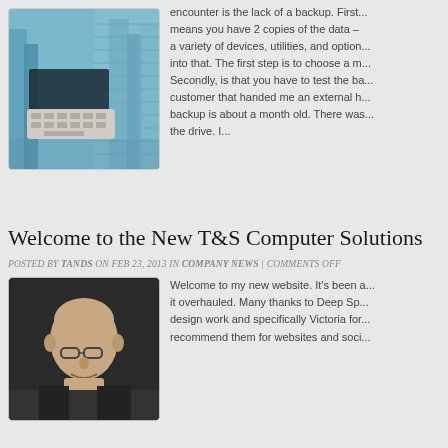[Figure (photo): Person typing on a keyboard with city skyscrapers reflected in background, blue toned technology image]
encounter is the lack of a backup. First... means you have 2 copies of the data – a variety of devices, utilities, and option... into that. The first step is to choose a m... Secondly, is that you have to test the ba... customer that handed me an external h... backup is about a month old. There was... the drive. I...
Welcome to the New T&S Computer Solutions
POSTED BY TANDS ON FEB 23, 2013 IN COMPANY NEWS | COMMENTS OFF
[Figure (photo): Headshot of a bald man wearing glasses against a dark background]
Welcome to my new website. It's been a... it overhauled. Many thanks to Deep Sp... design work and specifically Victoria for... recommend them for websites and soci...